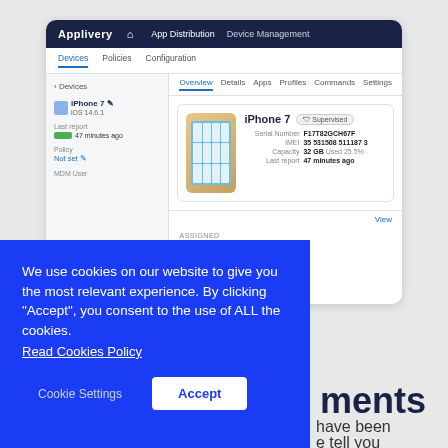[Figure (screenshot): Applivery Device Management UI showing iPhone 7 device overview with serial number, IMEI, capacity, and last report details]
We use cookies on our website to give you the most relevant experience. By clicking "Accept", you consent to the use of ALL the cookies.
Read Cookies Policy
Cookie Settings
Accept
ments
have been
e tell you